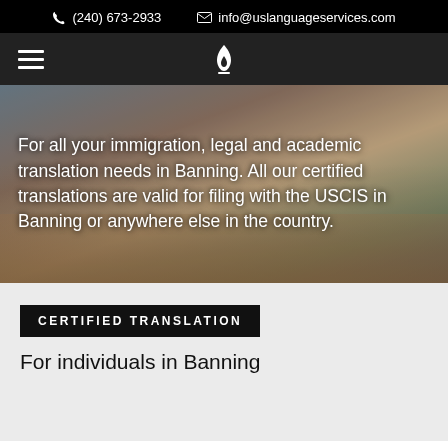(240) 673-2933   info@uslanguageservices.com
[Figure (logo): Hamburger menu icon (three horizontal lines) on left, flame/torch logo icon centered in nav bar]
[Figure (photo): Family sitting on floor, legs visible, background photo for hero section]
For all your immigration, legal and academic translation needs in Banning. All our certified translations are valid for filing with the USCIS in Banning or anywhere else in the country.
CERTIFIED TRANSLATION
For individuals in Banning